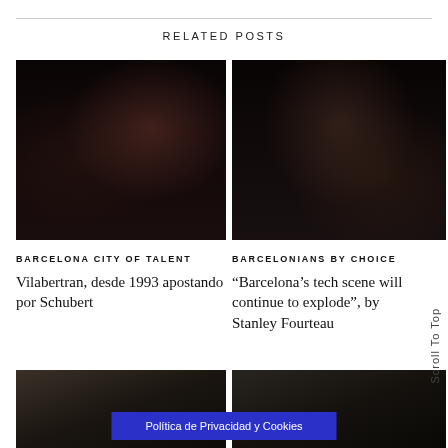RELATED POSTS
[Figure (photo): Dark blurry photo, left column top]
[Figure (photo): Dark blurry photo, right column top]
BARCELONA CITY OF TALENT
Vilabertran, desde 1993 apostando por Schubert
BARCELONIANS BY CHOICE
“Barcelona’s tech scene will continue to explode”, by Stanley Fourteau
[Figure (photo): Dark blurry photo, left column bottom]
[Figure (photo): Dark blurry photo, right column bottom]
Scroll To Top
Política de Privacidad y Cookies